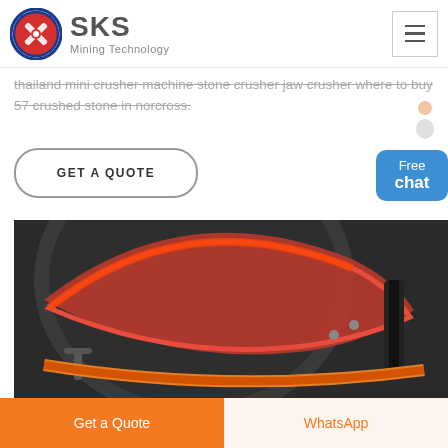[Figure (logo): SKS Mining Technology logo with red/blue circular emblem and company name]
thailand mini crusher machine stone crusher jaw crusher where to buy 57 crushed stone in norcross.
GET A QUOTE
[Figure (photo): Close-up photo of industrial crushing machine showing dark metal body with orange/red belt or seal detail]
Get a Quote
WhatsApp